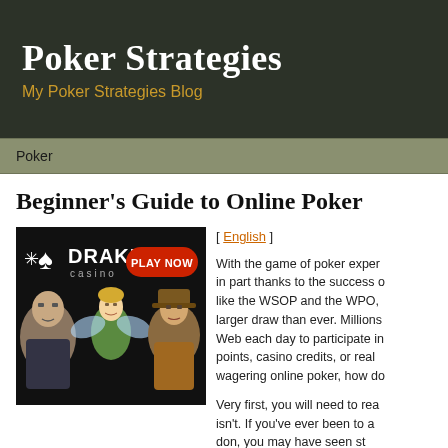Poker Strategies
My Poker Strategies Blog
Poker
Beginner's Guide to Online Poker
[Figure (illustration): Drake Casino advertisement banner with animated characters: a tough-looking man, a fairy, and a detective/noir character. Text reads 'DRAKE casino PLAY NOW']
[ English ]
With the game of poker exper in part thanks to the success o like the WSOP and the WPO, larger draw than ever. Millions Web each day to participate in points, casino credits, or real wagering online poker, how do
Very first, you will need to rea isn't. If you've ever been to a don, you may have seen st